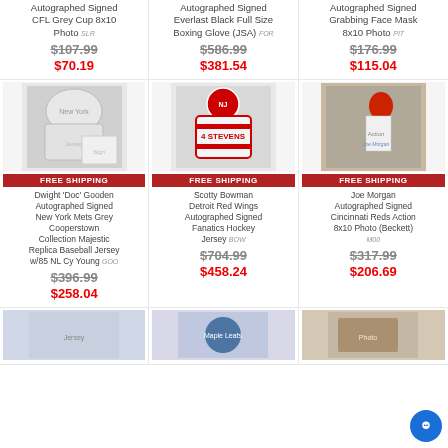Autographed Signed CFL Grey Cup 8x10 Photo [SLR]
$107.99 / $70.19
Autographed Signed Everlast Black Full Size Boxing Glove (JSA) [FOR]
$586.99 / $381.54
Autographed Signed Grabbing Face Mask 8x10 Photo [PIT]
$176.99 / $115.04
[Figure (photo): Dwight Doc Gooden autographed New York Mets grey jersey]
FREE SHIPPING
Dwight 'Doc' Gooden Autographed Signed New York Mets Grey Cooperstown Collection Majestic Replica Baseball Jersey w/85 NL Cy Young [GOO]
$396.99 / $258.04
[Figure (photo): Scotty Bowman Detroit Red Wings autographed hockey jersey with number 4 STEVENS]
FREE SHIPPING
Scotty Bowman Detroit Red Wings Autographed Signed Fanatics Hockey Jersey [BOW]
$704.99 / $458.24
[Figure (photo): Joe Morgan Cincinnati Reds autographed action 8x10 photo]
FREE SHIPPING
Joe Morgan Autographed Signed Cincinnati Reds Action 8x10 Photo (Beckett) [M00]
$317.99 / $206.69